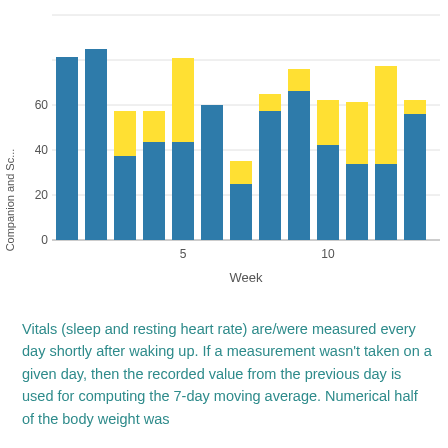[Figure (stacked-bar-chart): ]
Vitals (sleep and resting heart rate) are/were measured every day shortly after waking up. If a measurement wasn't taken on a given day, then the recorded value from the previous day is used for computing the 7-day moving average. Numerical half of the body weight was